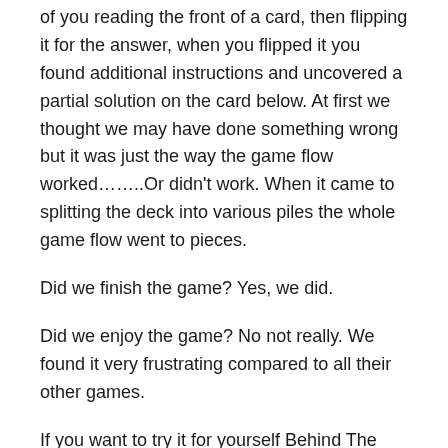of you reading the front of a card, then flipping it for the answer, when you flipped it you found additional instructions and uncovered a partial solution on the card below. At first we thought we may have done something wrong but it was just the way the game flow worked……..Or didn't work. When it came to splitting the deck into various piles the whole game flow went to pieces.
Did we finish the game? Yes, we did.
Did we enjoy the game? No not really. We found it very frustrating compared to all their other games.
If you want to try it for yourself Behind The Curtain is available from Amazon.
[Figure (logo): Deckscape logo banner with yellow text on dark red/black background]